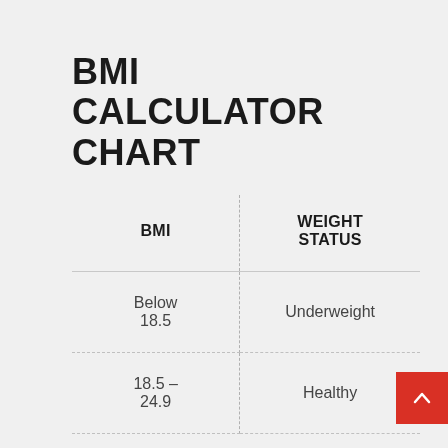BMI CALCULATOR CHART
| BMI | WEIGHT STATUS |
| --- | --- |
| Below 18.5 | Underweight |
| 18.5 – 24.9 | Healthy |